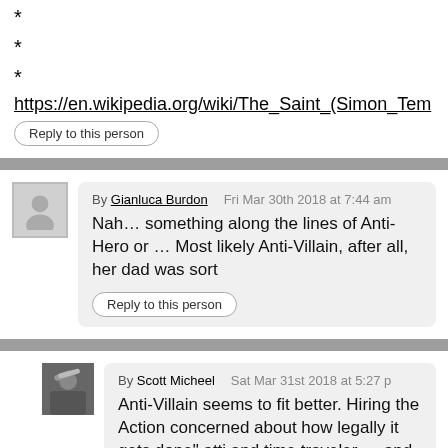*
*
*
https://en.wikipedia.org/wiki/The_Saint_(Simon_Tem
Reply to this person
By Gianluca Burdon   Fri Mar 30th 2018 at 7:44 am
Nah… something along the lines of Anti-Hero or … Most likely Anti-Villain, after all, her dad was sort
Reply to this person
By Scott Micheel   Sat Mar 31st 2018 at 5:27 p
Anti-Villain seems to fit better. Hiring the Action concerned about how legally it gets done" atti and time traveler — and she knows she can c a mastermind plot to remake the world?
Reply to this person